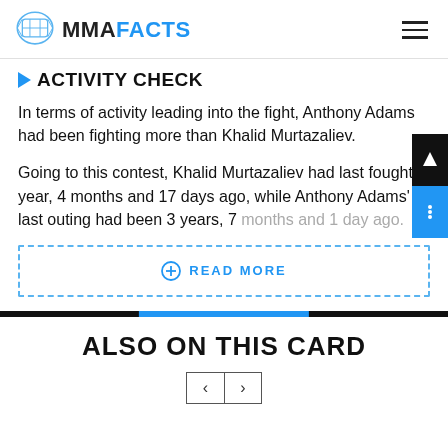MMAFACTS
ACTIVITY CHECK
In terms of activity leading into the fight, Anthony Adams had been fighting more than Khalid Murtazaliev.
Going to this contest, Khalid Murtazaliev had last fought 1 year, 4 months and 17 days ago, while Anthony Adams' last outing had been 3 years, 7 months and 1 day ago.
READ MORE
ALSO ON THIS CARD